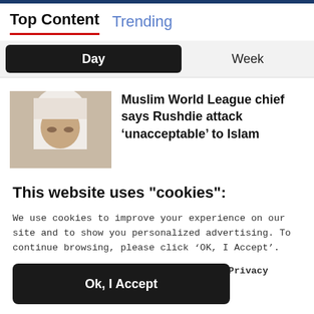Top Content   Trending
Day   Week
[Figure (photo): Photo of a man wearing a white head covering, partially cropped]
Muslim World League chief says Rushdie attack ‘unacceptable’ to Islam
This website uses "cookies":
We use cookies to improve your experience on our site and to show you personalized advertising. To continue browsing, please click ‘OK, I Accept’.
For more information, please read our Privacy Policy
Ok, I Accept